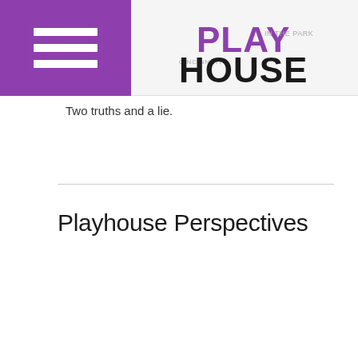Cincinnati Playhouse in the Park
Two truths and a lie.
Playhouse Perspectives